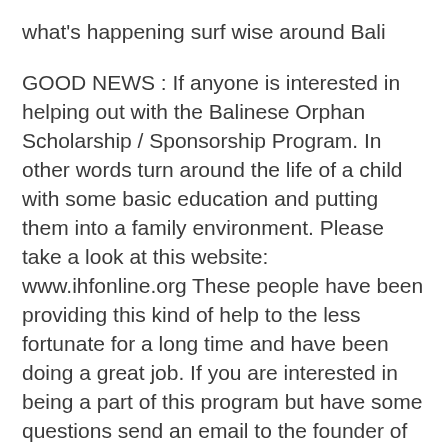what's happening surf wise around Bali
GOOD NEWS : If anyone is interested in helping out with the Balinese Orphan Scholarship / Sponsorship Program. In other words turn around the life of a child with some basic education and putting them into a family environment. Please take a look at this website: www.ihfonline.org These people have been providing this kind of help to the less fortunate for a long time and have been doing a great job. If you are interested in being a part of this program but have some questions send an email to the founder of I.H.F; carolmsasaki@gmail.com and I'm sure Carol will be able to give you the answers. Thanks again crew !! ***Just a quick up-date on our Orphan assistance program*** To date baliwaves.com has assisted in getting more that 100 under privileged Balinese children into school !!!! So hats off to everyone